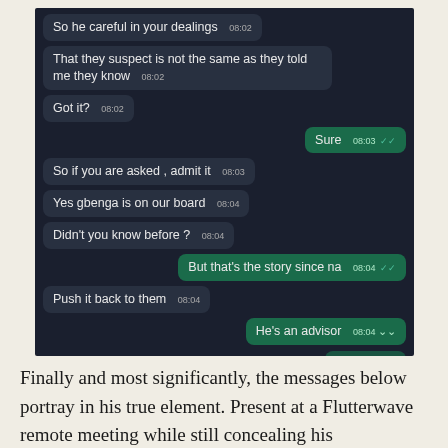[Figure (screenshot): WhatsApp chat screenshot on dark background showing messages: 'So he careful in your dealings 08:02', 'That they suspect is not the same as they told me they know 08:02', 'Got it? 08:02', sent bubble 'Sure 08:03 ✓✓', 'So if you are asked , admit it 08:03', 'Yes gbenga is on our board 08:04', 'Didn't you know before ? 08:04', sent bubble 'But that's the story since na 08:04 ✓✓', 'Push it back to them 08:04', sent bubble 'He's an advisor 08:04', partially visible sent bubble 'Since Since']
Finally and most significantly, the messages below portray in his true element. Present at a Flutterwave remote meeting while still concealing his involvement